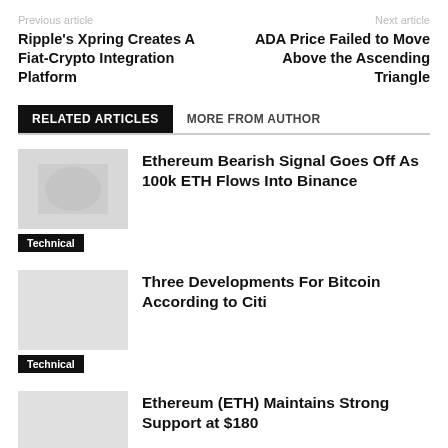Previous article
Next article
Ripple's Xpring Creates A Fiat-Crypto Integration Platform
ADA Price Failed to Move Above the Ascending Triangle
RELATED ARTICLES
MORE FROM AUTHOR
Ethereum Bearish Signal Goes Off As 100k ETH Flows Into Binance
Technical
Three Developments For Bitcoin According to Citi
Technical
Ethereum (ETH) Maintains Strong Support at $180
Technical